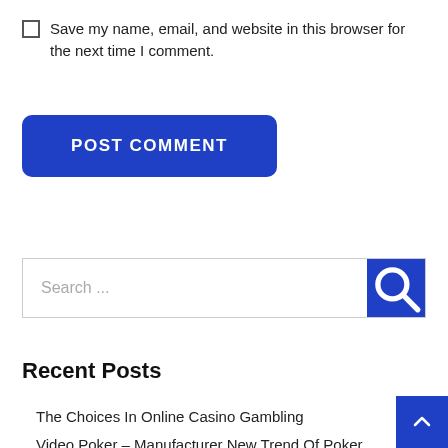Save my name, email, and website in this browser for the next time I comment.
POST COMMENT
Search ...
Recent Posts
The Choices In Online Casino Gambling
Video Poker – Manufacturer New Trend Of Poker